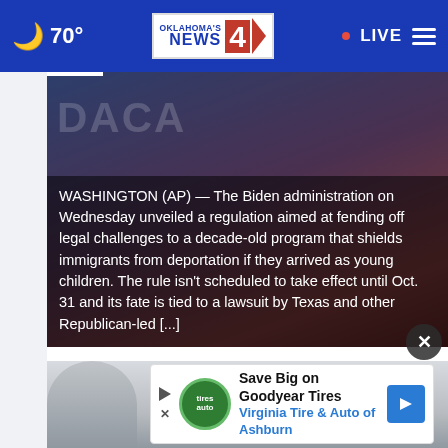70° | OKLAHOMA'S NEWS 4 | LIVE
WASHINGTON (AP) — The Biden administration on Wednesday unveiled a regulation aimed at fending off legal challenges to a decade-old program that shields immigrants from deportation if they arrived as young children. The rule isn't scheduled to take effect until Oct. 31 and its fate is tied to a lawsuit by Texas and other Republican-led [...]
[Figure (photo): News article thumbnail showing protest or demonstration scene with dark red tones]
[Figure (photo): Second article thumbnail showing US Capitol building exterior, grayscale/muted tones]
Save Big on Goodyear Tires
Virginia Tire & Auto of Ashburn